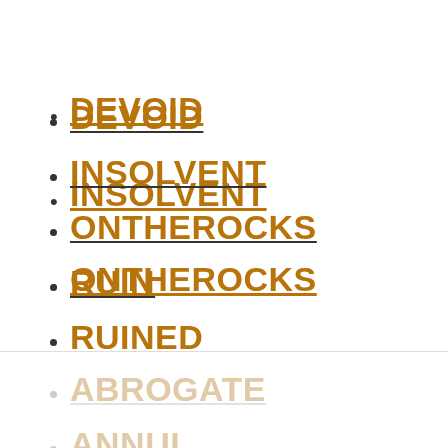DEVOID
INSOLVENT
ONTHEROCKS
RUIN
RUINED
WIPEDOUT
SUNK
EROGENOUS
ESPN
DEATH
ABROGATE
ANNUL